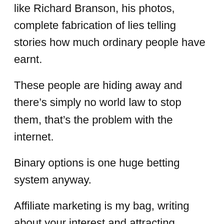like Richard Branson, his photos, complete fabrication of lies telling stories how much ordinary people have earnt.
These people are hiding away and there’s simply no world law to stop them, that’s the problem with the internet.
Binary options is one huge betting system anyway.
Affiliate marketing is my bag, writing about your interest and attracting